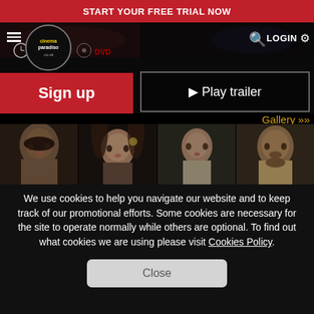START YOUR FREE TRIAL NOW
[Figure (screenshot): Cinema Paradiso website navigation bar with hamburger menu, logo, search icon, and LOGIN button on dark background with film imagery]
Sign up
▶ Play trailer
Gallery »
[Figure (photo): Gallery of four film stills showing actors: a dark-haired man looking up, a woman with braided hair, a woman in period clothing, and a bearded man]
We use cookies to help you navigate our website and to keep track of our promotional efforts. Some cookies are necessary for the site to operate normally while others are optional. To find out what cookies we are using please visit Cookies Policy.
Close